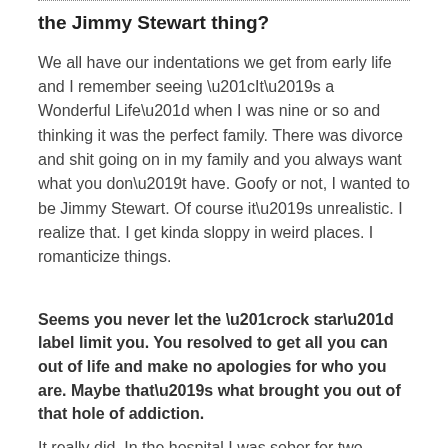the Jimmy Stewart thing?
We all have our indentations we get from early life and I remember seeing “It’s a Wonderful Life” when I was nine or so and thinking it was the perfect family. There was divorce and shit going on in my family and you always want what you don’t have. Goofy or not, I wanted to be Jimmy Stewart. Of course it’s unrealistic. I realize that. I get kinda sloppy in weird places. I romanticize things.
Seems you never let the “rock star” label limit you. You resolved to get all you can out of life and make no apologies for who you are. Maybe that’s what brought you out of that hole of addiction.
It really did. In the hospital I was sober for two weeks. Off